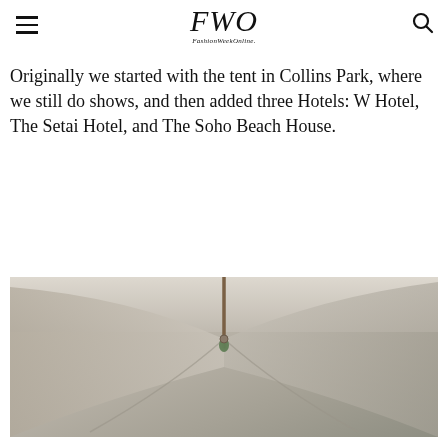FWO FashionWeekOnline.
Originally we started with the tent in Collins Park, where we still do shows, and then added three Hotels: W Hotel, The Setai Hotel, and The Soho Beach House.
[Figure (photo): Close-up photo of tent fabric meeting at a central pole, with soft neutral beige/grey tones and a small green element visible at the center junction.]